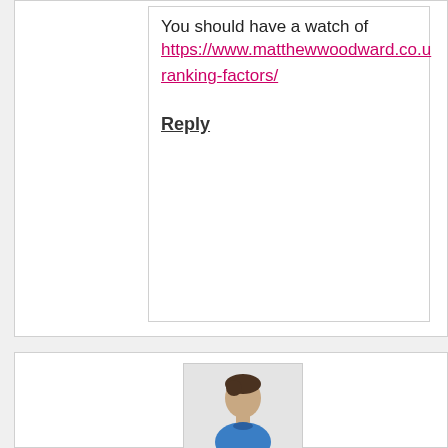You should have a watch of https://www.matthewwoodward.co.u ranking-factors/
Reply
78.
[Figure (illustration): Visitor avatar icon - generic blue person silhouette with label VISITOR]
luisk
5.14.2015
Good one, I'm going to try it. You are right about metrics, there is no better indicator for a good user experience than time spent in website (browsing